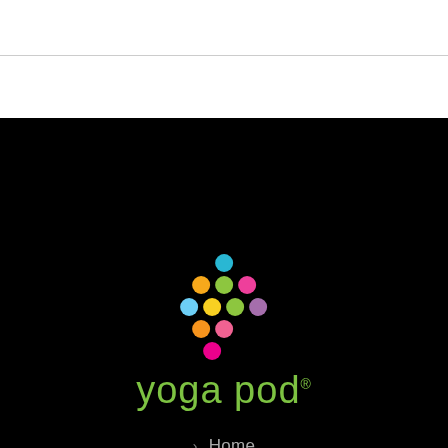[Figure (logo): Yoga Pod logo with colorful dots arranged in a grape-cluster pattern above the text 'yoga pod' in green]
> Home
> Buy a Class
> Gift Cards!
> Partner Portal